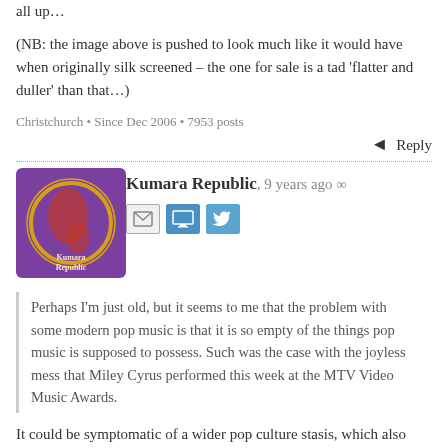all up…
(NB: the image above is pushed to look much like it would have when originally silk screened – the one for sale is a tad 'flatter and duller' than that…)
Christchurch • Since Dec 2006 • 7953 posts
↩ Reply
Kumara Republic, 9 years ago ∞
[Figure (photo): Avatar image for Kumara Republic user, purple/maroon background with logo]
Perhaps I'm just old, but it seems to me that the problem with some modern pop music is that it is so empty of the things pop music is supposed to possess. Such was the case with the joyless mess that Miley Cyrus performed this week at the MTV Video Music Awards.
It could be symptomatic of a wider pop culture stasis, which also applies to fashion, movies, design – you name it. This Vanity Fair article points to technological advances – particularly the Internet – as a major reason for such cultural stasis.